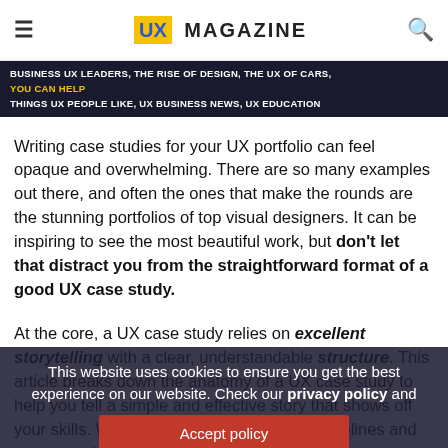UX MAGAZINE
BUSINESS UX LEADERS, THE RISE OF DESIGN, THE UX OF CARS, you can help THINGS UX PEOPLE LIKE, UX BUSINESS NEWS, UX EDUCATION
Writing case studies for your UX portfolio can feel opaque and overwhelming. There are so many examples out there, and often the ones that make the rounds are the stunning portfolios of top visual designers. It can be inspiring to see the most beautiful work, but don't let that distract you from the straightforward format of a good UX case study.
At the core, a UX case study relies on excellent storytelling with a clear, understandable structure. This article breaks down the anatomy of a UX case study to help you tell a simple and effective story that shows off your skills. We'll start with some general guidelines and structure, then break it down one piece
This website uses cookies to ensure you get the best experience on our website. Check our privacy policy and
Accept policy